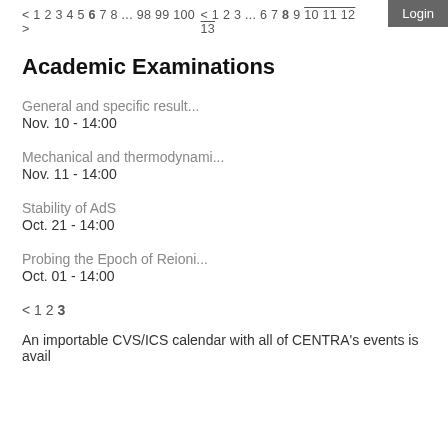< 1 2 3 4 5 6 7 8 ... 98 99 100 >    < 1 2 3 ... 6 7 8 9 10 11 12 13    Login
Academic Examinations
General and specific result...
Nov. 10 - 14:00
Mechanical and thermodynami...
Nov. 11 - 14:00
Stability of AdS
Oct. 21 - 14:00
Probing the Epoch of Reioni...
Oct. 01 - 14:00
< 1 2 3
An importable CVS/ICS calendar with all of CENTRA's events is avail